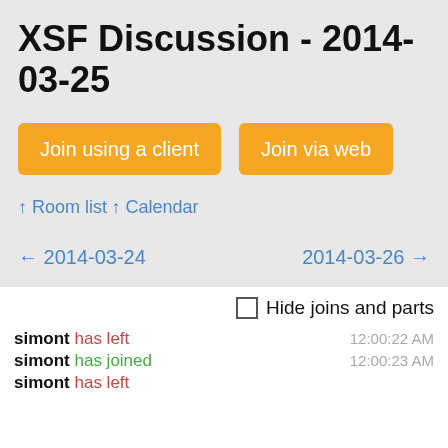XSF Discussion - 2014-03-25
Join using a client
Join via web
↑ Room list
↑ Calendar
← 2014-03-24
2014-03-26 →
Hide joins and parts
simont has left   12:00:22 AM
simont has joined   12:00:23 AM
simont has left